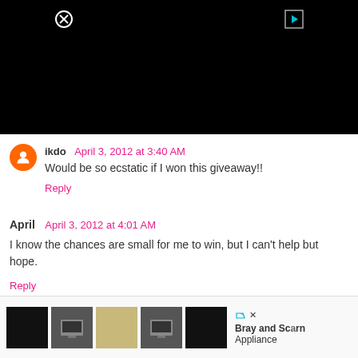[Figure (other): Black video player area with close (X) button top-left and play button top-right]
ikdo April 3, 2012 at 3:40 AM
Would be so ecstatic if I won this giveaway!!
Reply
April  April 3, 2012 at 4:01 AM
I know the chances are small for me to win, but I can't help but hope.
Reply
[Figure (other): Advertisement bar showing kitchen appliance images and Bray and Scan Appliance brand text]